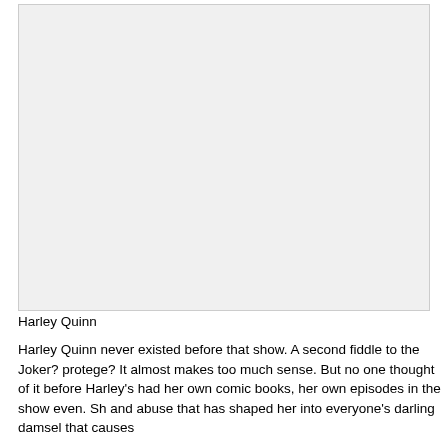[Figure (photo): A large image placeholder showing Harley Quinn, displayed as a light gray rectangle with a border.]
Harley Quinn
Harley Quinn never existed before that show. A second fiddle to the Joker? protege? It almost makes too much sense. But no one thought of it before Harley's had her own comic books, her own episodes in the show even. Sh and abuse that has shaped her into everyone's darling damsel that causes